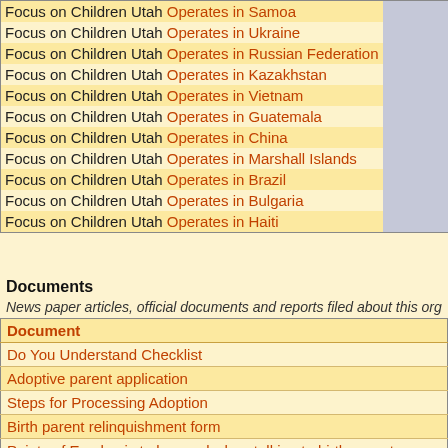| Organization | Gray | Year |
| --- | --- | --- |
| Focus on Children Utah Operates in Samoa |  |  |
| Focus on Children Utah Operates in Ukraine |  |  |
| Focus on Children Utah Operates in Russian Federation |  |  |
| Focus on Children Utah Operates in Kazakhstan |  |  |
| Focus on Children Utah Operates in Vietnam |  | 2005- |
| Focus on Children Utah Operates in Guatemala |  |  |
| Focus on Children Utah Operates in China |  |  |
| Focus on Children Utah Operates in Marshall Islands |  |  |
| Focus on Children Utah Operates in Brazil |  |  |
| Focus on Children Utah Operates in Bulgaria |  |  |
| Focus on Children Utah Operates in Haiti |  |  |
Documents
News paper articles, official documents and reports filed about this org...
| Document |
| --- |
| Do You Understand Checklist |
| Adoptive parent application |
| Steps for Processing Adoption |
| Birth parent relinquishment form |
| Points of Emphasis to be used when talking to birth parents |
| Adoptive Parent checklist |
|  |
| FOC Wyoming SOS and original board? |